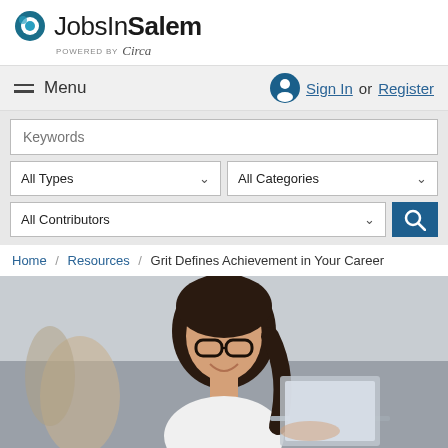[Figure (logo): JobsInSalem logo with circular icon and 'powered by Circa' tagline]
Menu
Sign In or Register
Keywords
All Types
All Categories
All Contributors
Home / Resources / Grit Defines Achievement in Your Career
[Figure (photo): Young woman with glasses smiling at a laptop in an office setting]